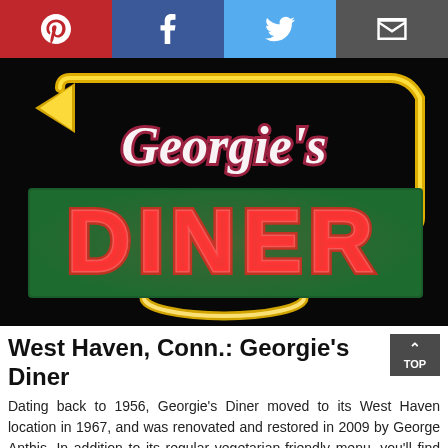Social share buttons: Pinterest, Facebook, Twitter, Email
[Figure (photo): Georgie's Diner neon sign at night — yellow neon arrow outline, white cursive 'Georgie's' text, large red neon 'DINER' letters on dark green background, black night sky background]
West Haven, Conn.: Georgie's Diner
Dating back to 1956, Georgie's Diner moved to its West Haven location in 1967, and was renovated and restored in 2009 by George Anthis. In addition to its regular vegetarian-friendly menu, you'll find one that's gluten-free and stocked with impeccably